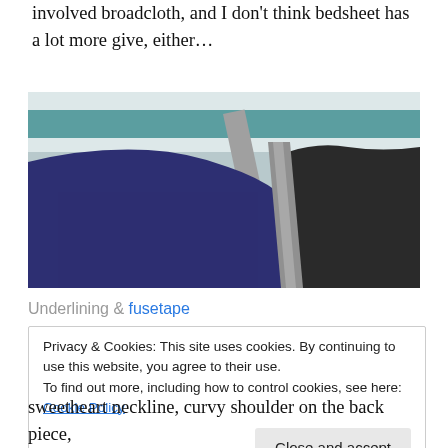involved broadcloth, and I don't think bedsheet has a lot more give, either…
[Figure (photo): Photo of fabric pieces laid flat: navy blue textured fabric on the left, dark charcoal/black fabric on the right, with a grey/silver woven tape/ribbon trim along the neckline seam. Fabric pieces are pattern pieces for a garment with a sweetheart or curved neckline. Background shows a teal and white striped surface.]
Underlining & fusetape
Privacy & Cookies: This site uses cookies. By continuing to use this website, you agree to their use.
To find out more, including how to control cookies, see here: Cookie Policy
sweetheart neckline, curvy shoulder on the back piece,